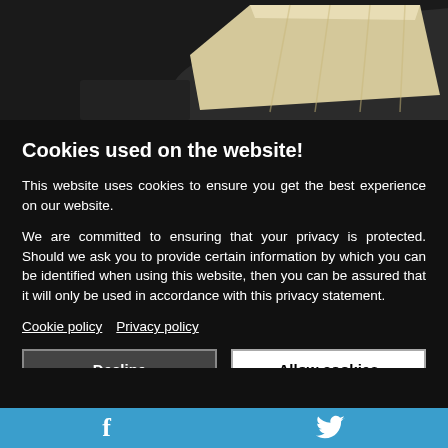[Figure (photo): Photo of a slice of white/yellow cake on a dark plate, partially visible at the top of the page]
Cookies used on the website!
This website uses cookies to ensure you get the best experience on our website.
We are committed to ensuring that your privacy is protected. Should we ask you to provide certain information by which you can be identified when using this website, then you can be assured that it will only be used in accordance with this privacy statement.
Cookie policy   Privacy policy
Decline   Allow cookies